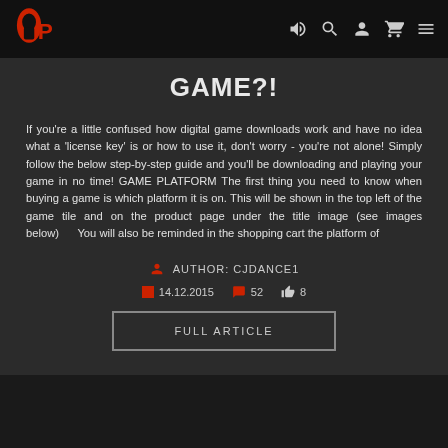OP logo and navigation icons
GAME?!
If you're a little confused how digital game downloads work and have no idea what a 'license key' is or how to use it, don't worry - you're not alone! Simply follow the below step-by-step guide and you'll be downloading and playing your game in no time! GAME PLATFORM The first thing you need to know when buying a game is which platform it is on. This will be shown in the top left of the game tile and on the product page under the title image (see images below)      You will also be reminded in the shopping cart the platform of
AUTHOR: CJDANCE1
14.12.2015   52   8
FULL ARTICLE